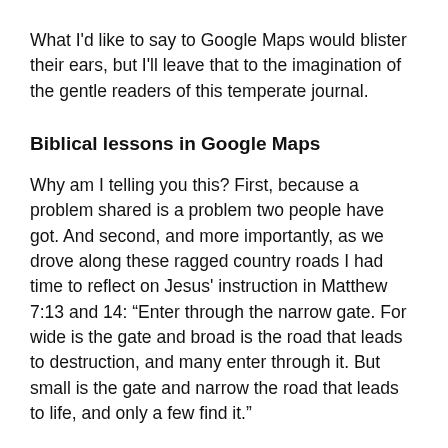What I'd like to say to Google Maps would blister their ears, but I'll leave that to the imagination of the gentle readers of this temperate journal.
Biblical lessons in Google Maps
Why am I telling you this? First, because a problem shared is a problem two people have got. And second, and more importantly, as we drove along these ragged country roads I had time to reflect on Jesus' instruction in Matthew 7:13 and 14: “Enter through the narrow gate. For wide is the gate and broad is the road that leads to destruction, and many enter through it. But small is the gate and narrow the road that leads to life, and only a few find it.”